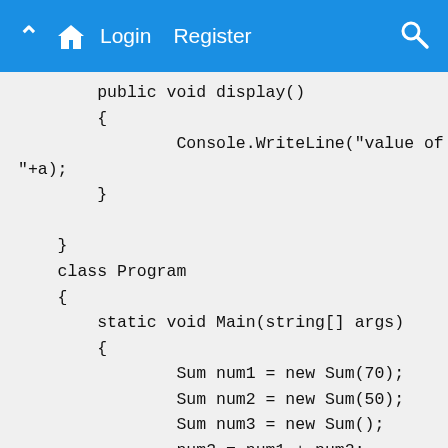Home  Login  Register  Search
public void display()
        {
                Console.WriteLine("value of "+a);
        }

    }
    class Program
    {
        static void Main(string[] args)
        {
                Sum num1 = new Sum(70);
                Sum num2 = new Sum(50);
                Sum num3 = new Sum();
                num3 = num1 + num2;
                num1.display();
                num2.display();
                num3.display();